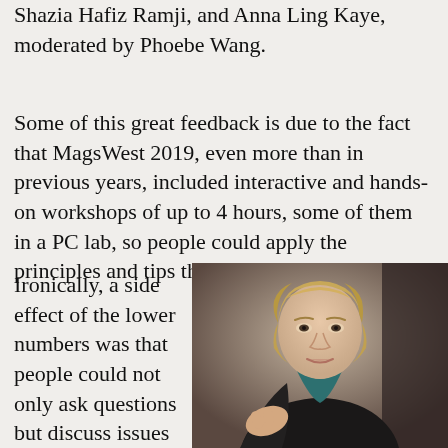Shazia Hafiz Ramji, and Anna Ling Kaye, moderated by Phoebe Wang.
Some of this great feedback is due to the fact that MagsWest 2019, even more than in previous years, included interactive and hands-on workshops of up to 4 hours, some of them in a PC lab, so people could apply the principles and tips they'd just learned.
Ironically, a side effect of the lower numbers was that people could not only ask questions but discuss issues and topics in greater depth and
[Figure (photo): A woman with short blonde hair wearing a dark blazer and teal top, gesturing with her hand, appearing to speak or present in front of a dark background.]